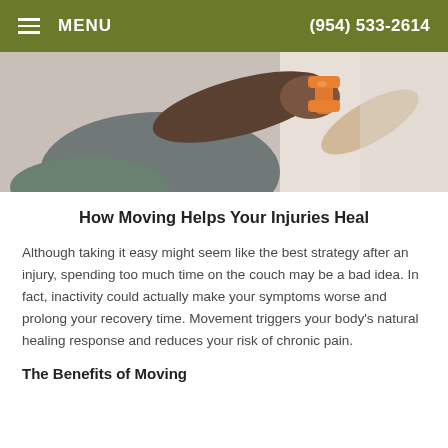MENU   (954) 533-2614
[Figure (photo): Close-up of a person holding an orange dumbbell during physical therapy or exercise, with another person's arm visible assisting.]
How Moving Helps Your Injuries Heal
Although taking it easy might seem like the best strategy after an injury, spending too much time on the couch may be a bad idea. In fact, inactivity could actually make your symptoms worse and prolong your recovery time. Movement triggers your body's natural healing response and reduces your risk of chronic pain.
The Benefits of Moving